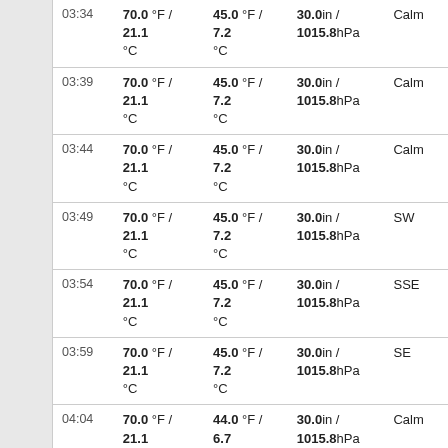| Time | Temperature | Dew Point | Pressure | Wind |
| --- | --- | --- | --- | --- |
| 03:34 | 70.0 °F / 21.1 °C | 45.0 °F / 7.2 °C | 30.0in / 1015.8hPa | Calm |
| 03:39 | 70.0 °F / 21.1 °C | 45.0 °F / 7.2 °C | 30.0in / 1015.8hPa | Calm |
| 03:44 | 70.0 °F / 21.1 °C | 45.0 °F / 7.2 °C | 30.0in / 1015.8hPa | Calm |
| 03:49 | 70.0 °F / 21.1 °C | 45.0 °F / 7.2 °C | 30.0in / 1015.8hPa | SW |
| 03:54 | 70.0 °F / 21.1 °C | 45.0 °F / 7.2 °C | 30.0in / 1015.8hPa | SSE |
| 03:59 | 70.0 °F / 21.1 °C | 45.0 °F / 7.2 °C | 30.0in / 1015.8hPa | SE |
| 04:04 | 70.0 °F / 21.1 °C | 44.0 °F / 6.7 °C | 30.0in / 1015.8hPa | Calm |
| 04:09 | 70.0 °F / 21.1 °C | 44.0 °F / 6.7 °C | 30.0in / 1015.8hPa | Calm |
| 04:14 | 70.0 °F / 21.1 °C | 44.0 °F / 6.7 °C | 30.0in / 1015.8hPa | Calm |
| 04:19 | 70.0 °F / 21.1 | 44.0 °F / 6.7 | 30.0in / |  |